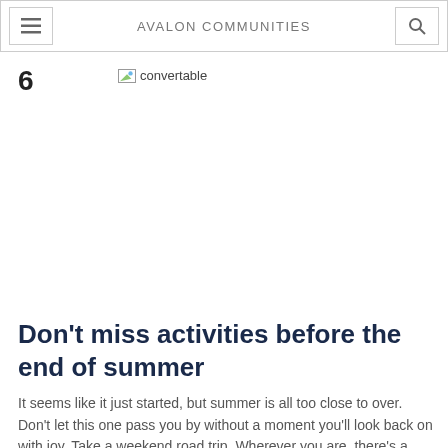AVALON COMMUNITIES
6
[Figure (photo): Broken image placeholder labeled 'convertable']
Don't miss activities before the end of summer
It seems like it just started, but summer is all too close to over. Don't let this one pass you by without a moment you'll look back on with joy. Take a weekend road trip. Wherever you are, there's a destination that's just a bit too far to travel in… Read more